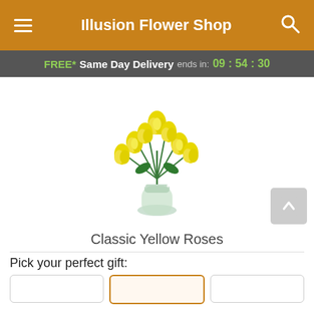Illusion Flower Shop
FREE* Same Day Delivery ends in: 09 : 54 : 30
[Figure (photo): A bouquet of classic yellow roses with baby's breath in a clear glass vase]
Classic Yellow Roses
Pick your perfect gift: